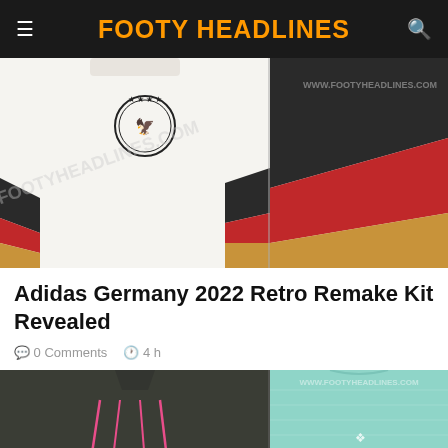FOOTY HEADLINES
[Figure (photo): Adidas Germany 2022 Retro Remake Kit — two side-by-side views of white jersey with black/red/gold stripe details and DFB badge]
Adidas Germany 2022 Retro Remake Kit Revealed
0 Comments   4 h
[Figure (photo): Two side-by-side kit images: dark olive/grey jersey with pink accents and Umbro logo on left; mint/teal jersey with Umbro logo and shield badge on right, watermark www.footyheadlines.com]